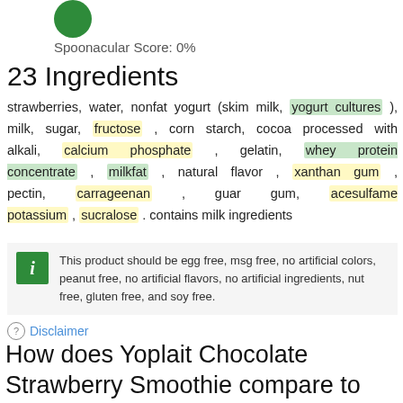[Figure (other): Green circle score indicator at top]
Spoonacular Score: 0%
23 Ingredients
strawberries, water, nonfat yogurt (skim milk, yogurt cultures ), milk, sugar, fructose , corn starch, cocoa processed with alkali, calcium phosphate , gelatin, whey protein concentrate , milkfat , natural flavor , xanthan gum , pectin, carrageenan , guar gum, acesulfame potassium , sucralose . contains milk ingredients
This product should be egg free, msg free, no artificial colors, peanut free, no artificial flavors, no artificial ingredients, nut free, gluten free, and soy free.
Disclaimer
How does Yoplait Chocolate Strawberry Smoothie compare to similar products?